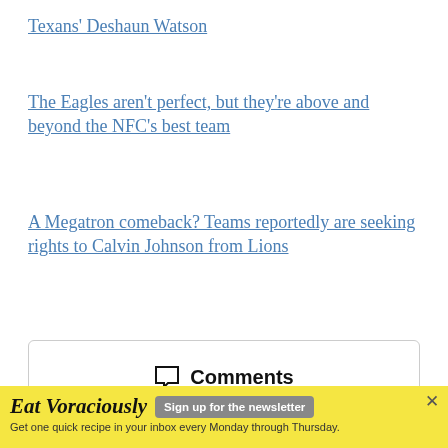Texans' Deshaun Watson
The Eagles aren't perfect, but they're above and beyond the NFC's best team
A Megatron comeback? Teams reportedly are seeking rights to Calvin Johnson from Lions
Comments
[Figure (illustration): Envelope icon with a blue notification dot in the top right corner]
Monday Morning Post Up newsletter
All the NBA news and commentary you need, every
Eat Voraciously  Sign up for the newsletter  Get one quick recipe in your inbox every Monday through Thursday.